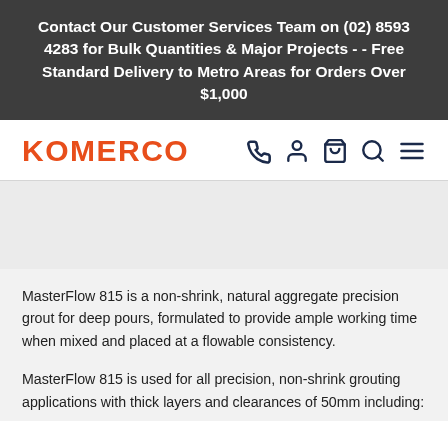Contact Our Customer Services Team on (02) 8593 4283 for Bulk Quantities & Major Projects - - Free Standard Delivery to Metro Areas for Orders Over $1,000
[Figure (logo): KOMERCO logo in bold orange/red text, with navigation icons (phone, user, cart, search, menu) in dark navy on the right]
MasterFlow 815 is a non-shrink, natural aggregate precision grout for deep pours, formulated to provide ample working time when mixed and placed at a flowable consistency.
MasterFlow 815 is used for all precision, non-shrink grouting applications with thick layers and clearances of 50mm including: